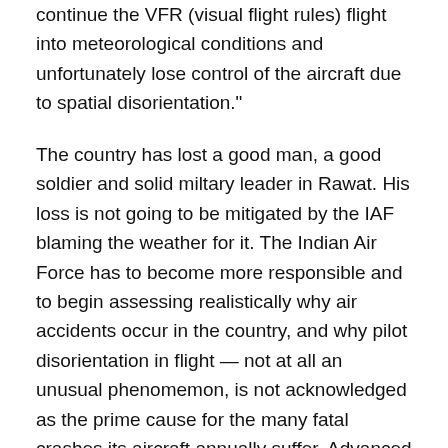continue the VFR (visual flight rules) flight into meteorological conditions and unfortunately lose control of the aircraft due to spatial disorientation."
The country has lost a good man, a good soldier and solid miltary leader in Rawat. His loss is not going to be mitigated by the IAF blaming the weather for it. The Indian Air Force has to become more responsible and to begin assessing realistically why air accidents occur in the country, and why pilot disorientation in flight — not at all an unusual phenomemon, is not acknowledged as the prime cause for the many fatal crashes its aircraft annually suffer. Advanced air forces have no problem owning up to the occasionally spatially disoriented pilots crashing aircraft.
Hopefully. starting with the ‘Court of Inquiry’ looking into this Mi-17 mishap, the IAF will begin to honestly accept...